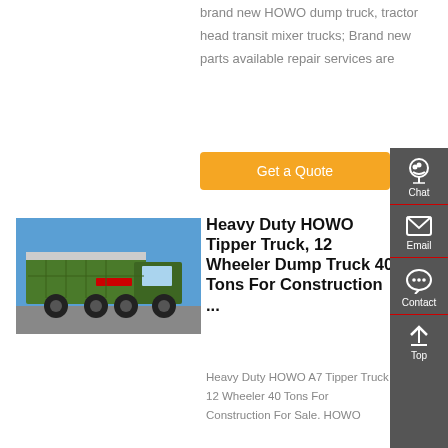brand new HOWO dump truck, tractor head transit mixer trucks; Brand new parts available repair services are
Get a Quote
[Figure (photo): Green HOWO heavy duty dump truck / tipper truck parked outdoors against a blue sky]
Heavy Duty HOWO Tipper Truck, 12 Wheeler Dump Truck 40 Tons For Construction ...
Heavy Duty HOWO A7 Tipper Truck 12 Wheeler 40 Tons For Construction For Sale. HOWO